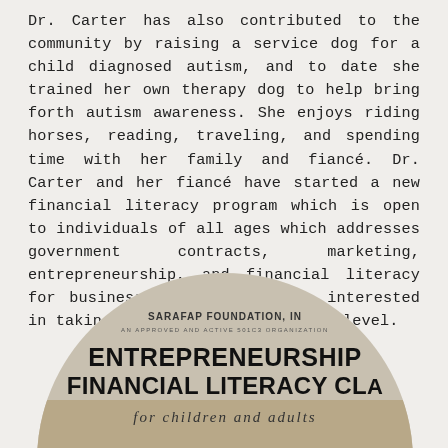Dr. Carter has also contributed to the community by raising a service dog for a child diagnosed autism, and to date she trained her own therapy dog to help bring forth autism awareness. She enjoys riding horses, reading, traveling, and spending time with her family and fiancé. Dr. Carter and her fiancé have started a new financial literacy program which is open to individuals of all ages which addresses government contracts, marketing, entrepreneurship, and financial literacy for business owners and those interested in taking their lives to the next level.
[Figure (photo): Circular promotional image for SARAFAP Foundation, Inc. — An Approved and Active 501c3 Organization. Text reads: ENTREPRENEURSHIP FINANCIAL LITERACY CLA[SS] for children and adults. Below the text are two people (a woman in a green dress and a man in a dark suit) standing in a classroom setting with rows of chairs.]